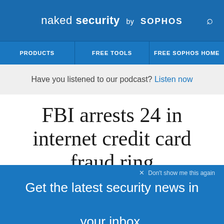naked security by SOPHOS
PRODUCTS | FREE TOOLS | FREE SOPHOS HOME
Have you listened to our podcast? Listen now
FBI arrests 24 in internet credit card fraud ring
27 JUN 2012  10
Apple, Data loss, Law & order, Malware
× Don't show me this again
Get the latest security news in your inbox.